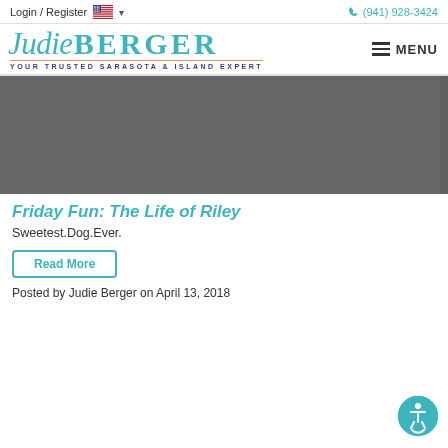Login / Register  🇺🇸 ▾        (941) 928-3424
[Figure (logo): Judie Berger real estate logo — cursive 'Judie' with BERGER in block letters, teal color, tagline YOUR TRUSTED SARASOTA & ISLAND EXPERT with decorative underline]
[Figure (photo): Dark gray hero image banner (appears to be a dog-related blog post image, mostly obscured/dark)]
Friday Fun: The Life of Riley
Sweetest.Dog.Ever.
Read More
Posted by Judie Berger on April 13, 2018